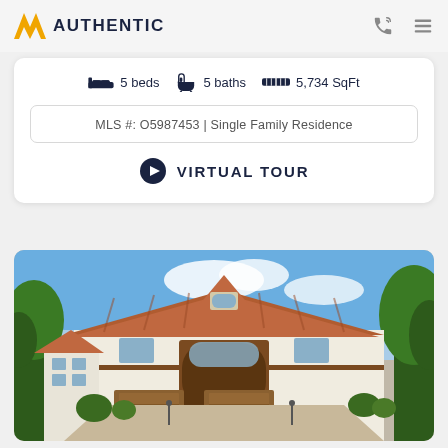Authentic
5 beds  5 baths  5,734 SqFt
MLS #: O5987453 | Single Family Residence
VIRTUAL TOUR
[Figure (photo): Exterior photo of a large two-story Mediterranean-style single family home with terracotta tile roof, white stucco walls, arched entry, three-car garage, lush landscaping, and a lake visible in the background on a sunny day.]